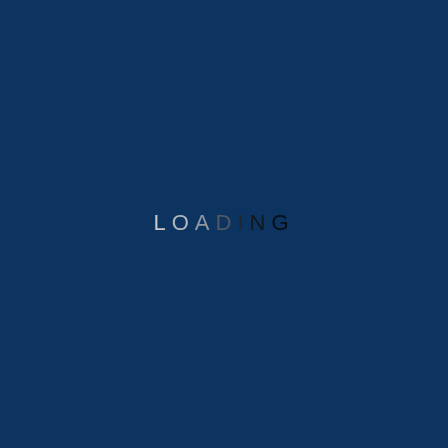[Figure (other): Dark navy blue background loading screen with the word LOADING displayed in the center. The letters transition from light gray/white on the left (L, O, A) to dark/black on the right (D, I, N, G), creating a gradient fade effect suggesting a loading animation in progress.]